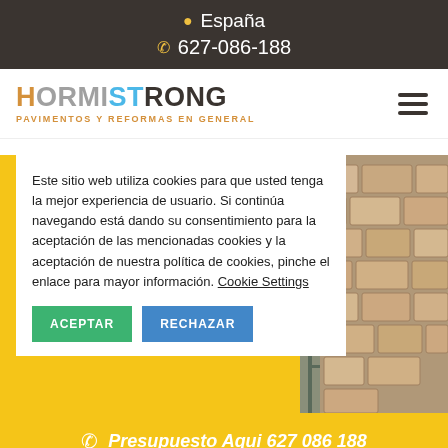España  627-086-188
[Figure (logo): Hormistrong logo with tagline Pavimentos y Reformas en General]
Este sitio web utiliza cookies para que usted tenga la mejor experiencia de usuario. Si continúa navegando está dando su consentimiento para la aceptación de las mencionadas cookies y la aceptación de nuestra política de cookies, pinche el enlace para mayor información. Cookie Settings
[Figure (photo): Photo of stone/brick wall renovation work]
Presupuesto Aqui 627 086 188